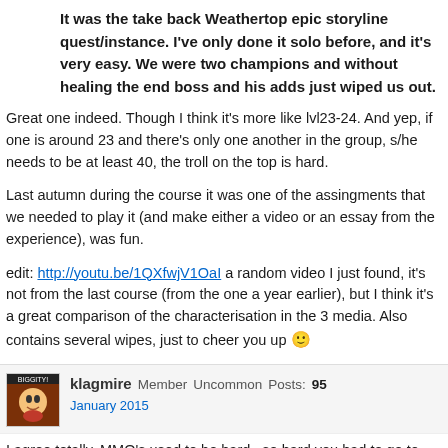It was the take back Weathertop epic storyline quest/instance. I've only done it solo before, and it's very easy. We were two champions and without healing the end boss and his adds just wiped us out.
Great one indeed. Though I think it's more like lvl23-24. And yep, if one is around 23 and there's only one another in the group, s/he needs to be at least 40, the troll on the top is hard.
Last autumn during the course it was one of the assingments that we needed to play it (and make either a video or an essay from the experience), was fun.
edit: http://youtu.be/1QXfwjV1OaI a random video I just found, it's not from the last course (from the one a year earlier), but I think it's a great comparison of the characterisation in the 3 media. Also contains several wipes, just to cheer you up 🙂
klagmire Member Uncommon Posts: 95 January 2015
I agree totally. MMO's used to be hard , so hard you had to go to wikis just to